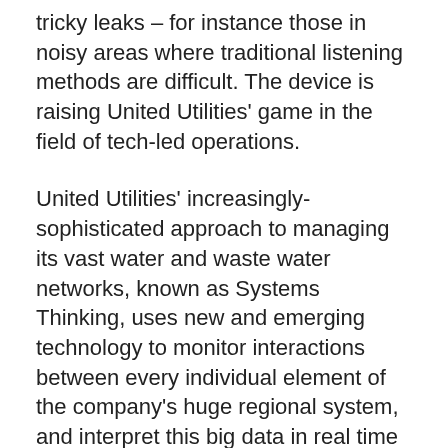tricky leaks – for instance those in noisy areas where traditional listening methods are difficult. The device is raising United Utilities' game in the field of tech-led operations.
United Utilities' increasingly-sophisticated approach to managing its vast water and waste water networks, known as Systems Thinking, uses new and emerging technology to monitor interactions between every individual element of the company's huge regional system, and interpret this big data in real time to improve efficiency and customer service.
Now in daily usage, FIDO Tech's instant audio file analysis AI platform delivers an accuracy rate of over 85 per cent, outperforming traditional methods and improving the rate in which leaks can be found. FIDO AI is hardware-neutral and analyses both the audio files of a utility network's existing estate of